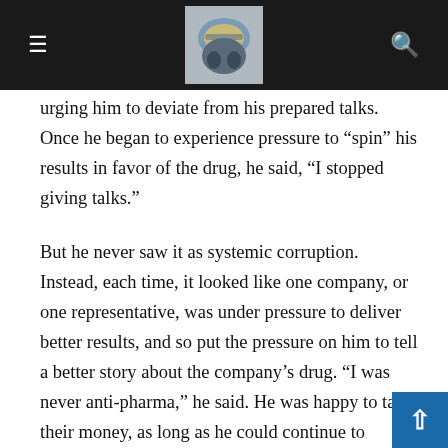[Navigation header with hamburger menu, logo image, and search icon]
urging him to deviate from his prepared talks. Once he began to experience pressure to “spin” his results in favor of the drug, he said, “I stopped giving talks.”
But he never saw it as systemic corruption. Instead, each time, it looked like one company, or one representative, was under pressure to deliver better results, and so put the pressure on him to tell a better story about the company’s drug. “I was never anti-pharma,” he said. He was happy to take their money, as long as he could continue to deliver accurate data.
Study 352 Comes Calling
In the 1990s, all was going well for Amsterdam. And he thought little about it when, in 1995, Richels asked if he could